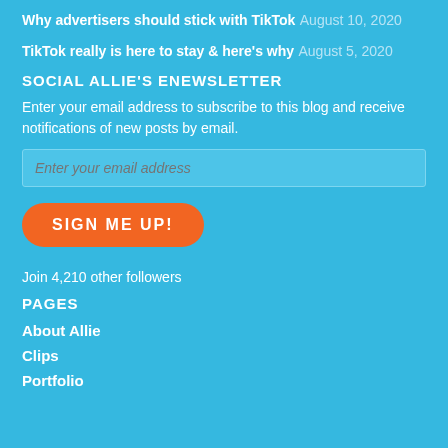Why advertisers should stick with TikTok August 10, 2020
TikTok really is here to stay & here's why August 5, 2020
SOCIAL ALLIE'S ENEWSLETTER
Enter your email address to subscribe to this blog and receive notifications of new posts by email.
Join 4,210 other followers
PAGES
About Allie
Clips
Portfolio